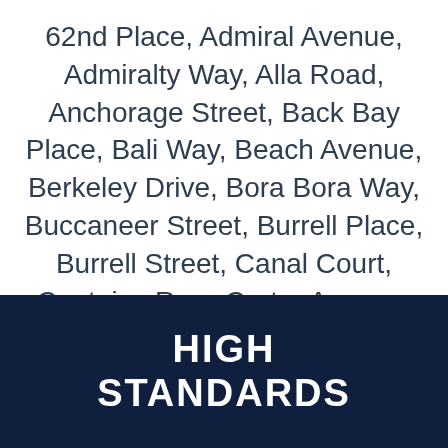62nd Place, Admiral Avenue, Admiralty Way, Alla Road, Anchorage Street, Back Bay Place, Bali Way, Beach Avenue, Berkeley Drive, Bora Bora Way, Buccaneer Street, Burrell Place, Burrell Street, Canal Court, Captains Row, Carter Avenue, Catamaran Street, Channel Point Court, Channel Pointe Mall, Channel Walk, Culver Boulevard, del Rey Avenue, Dickson Street, Driftwood Street, E Anchorage Street, E Bora Bora Way, E Harbor Crossing Lane, E Jib Street, E Ketch Mall, E Ketch Street, E Lighthouse Mall, E Lighthouse Street
HIGH STANDARDS